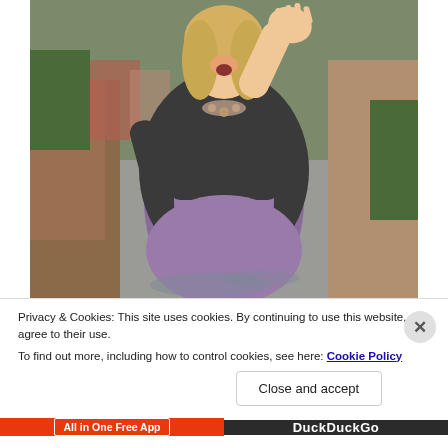[Figure (photo): A blonde woman wearing a purple dress and dark textured cardigan, standing on a wet alleyway between fences and foliage, laughing and waving with one hand raised.]
Privacy & Cookies: This site uses cookies. By continuing to use this website, you agree to their use.
To find out more, including how to control cookies, see here: Cookie Policy
Close and accept
All in One Free App
DuckDuckGo